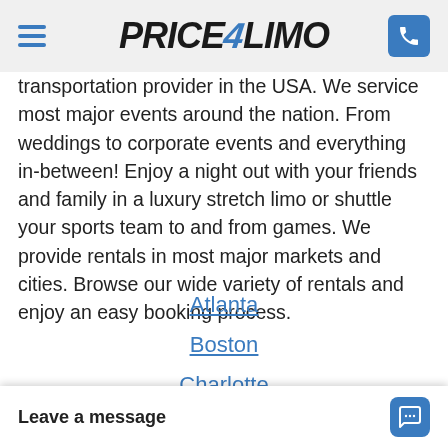PRICE4LIMO
transportation provider in the USA. We service most major events around the nation. From weddings to corporate events and everything in-between! Enjoy a night out with your friends and family in a luxury stretch limo or shuttle your sports team to and from games. We provide rentals in most major markets and cities. Browse our wide variety of rentals and enjoy an easy booking process.
Atlanta
Boston
Charlotte
Chicago
Leave a message